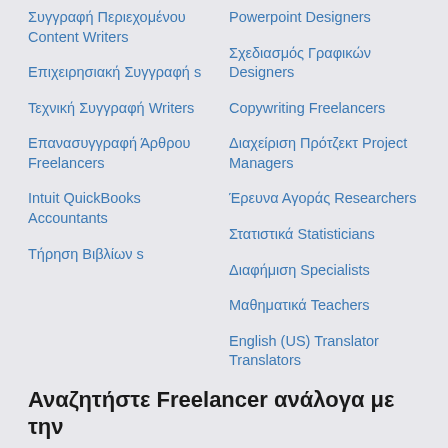Συγγραφή Περιεχομένου Content Writers
Επιχειρησιακή Συγγραφή s
Τεχνική Συγγραφή Writers
Επανασυγγραφή Άρθρου Freelancers
Intuit QuickBooks Accountants
Τήρηση Βιβλίων s
Powerpoint Designers
Σχεδιασμός Γραφικών Designers
Copywriting Freelancers
Διαχείριση Πρότζεκτ Project Managers
Έρευνα Αγοράς Researchers
Στατιστικά Statisticians
Διαφήμιση Specialists
Μαθηματικά Teachers
English (US) Translator Translators
Αναζητήστε Freelancer ανάλογα με την